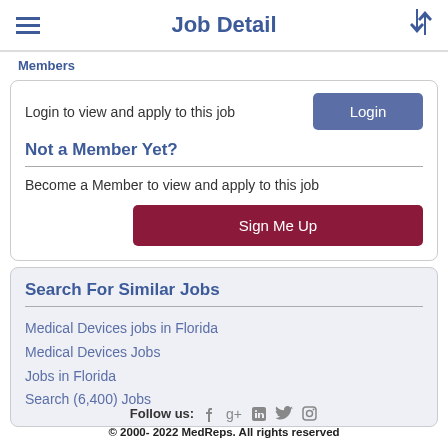Job Detail
Members
Login to view and apply to this job
Not a Member Yet?
Become a Member to view and apply to this job
Search For Similar Jobs
Medical Devices jobs in Florida
Medical Devices Jobs
Jobs in Florida
Search (6,400) Jobs
Follow us: © 2000- 2022 MedReps. All rights reserved